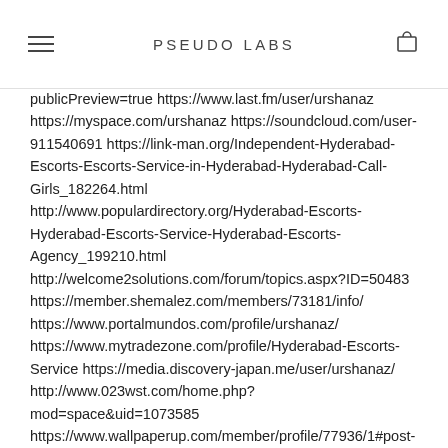PSEUDO LABS
publicPreview=true https://www.last.fm/user/urshanaz https://myspace.com/urshanaz https://soundcloud.com/user-911540691 https://link-man.org/Independent-Hyderabad-Escorts-Escorts-Service-in-Hyderabad-Hyderabad-Call-Girls_182264.html http://www.populardirectory.org/Hyderabad-Escorts-Hyderabad-Escorts-Service-Hyderabad-Escorts-Agency_199210.html http://welcome2solutions.com/forum/topics.aspx?ID=50483 https://member.shemalez.com/members/73181/info/ https://www.portalmundos.com/profile/urshanaz/ https://www.mytradezone.com/profile/Hyderabad-Escorts-Service https://media.discovery-japan.me/user/urshanaz/ http://www.023wst.com/home.php?mod=space&uid=1073585 https://www.wallpaperup.com/member/profile/77936/1#post-28820 https://www.shebuildsbrands.com/profile/tanisharockloll/profil